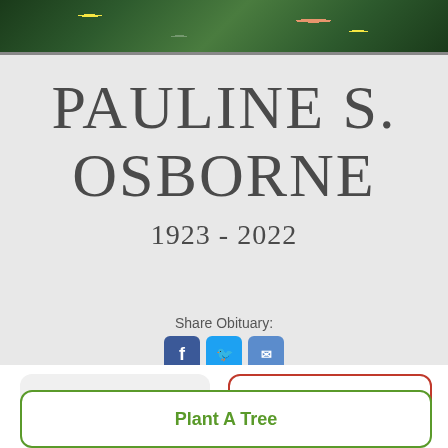[Figure (photo): Partial view of a person wearing a floral/tropical patterned top, cropped at top of page]
PAULINE S. OSBORNE
1923 - 2022
Share Obituary:
[Figure (other): Social share icons: Facebook (blue), Twitter (light blue), Email (blue)]
Share A Memory
Send Flowers
Plant A Tree